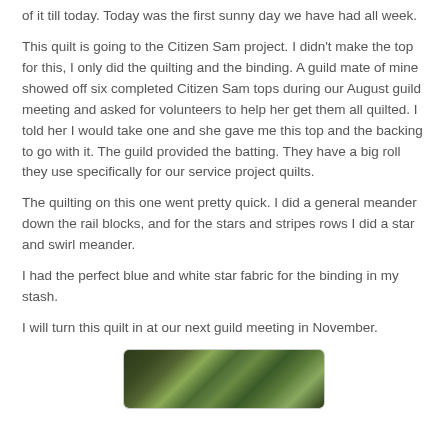of it till today.  Today was the first sunny day we have had all week.
This quilt is going to the Citizen Sam project. I didn't make the top for this, I only did the quilting and the binding.  A guild mate of mine showed off six completed Citizen Sam tops during our August guild meeting and asked for volunteers to help her get them all quilted.  I told her I would take one and she gave me this top and the backing to go with it.  The guild provided the batting.  They have a big roll they use specifically for our service project quilts.
The quilting on this one went pretty quick. I did a general meander down the rail blocks, and for the stars and stripes rows I did a star and swirl meander.
I had the perfect blue and white star fabric for the binding in my stash.
I will turn this quilt in at our next guild meeting in November.
[Figure (photo): Photograph of a quilt with green and dark tones, partially visible at the bottom of the page.]